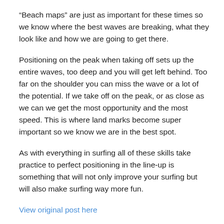“Beach maps” are just as important for these times so we know where the best waves are breaking, what they look like and how we are going to get there.
Positioning on the peak when taking off sets up the entire waves, too deep and you will get left behind. Too far on the shoulder you can miss the wave or a lot of the potential. If we take off on the peak, or as close as we can we get the most opportunity and the most speed. This is where land marks become super important so we know we are in the best spot.
As with everything in surfing all of these skills take practice to perfect positioning in the line-up is something that will not only improve your surfing but will also make surfing way more fun.
View original post here